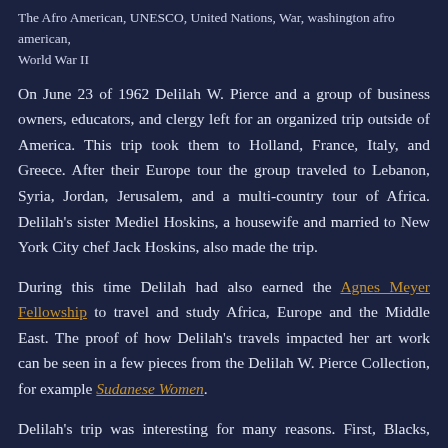The Afro American, UNESCO, United Nations, War, washington afro american, World War II
On June 23 of 1962 Delilah W. Pierce and a group of business owners, educators, and clergy left for an organized trip outside of America. This trip took them to Holland, France, Italy, and Greece. After their Europe tour the group traveled to Lebanon, Syria, Jordan, Jerusalem, and a multi-country tour of Africa. Delilah's sister Mediel Hoskins, a housewife and married to New York City chef Jack Hoskins, also made the trip.
During this time Delilah had also earned the Agnes Meyer Fellowship to travel and study Africa, Europe and the Middle East. The proof of how Delilah's travels impacted her art work can be seen in a few pieces from the Delilah W. Pierce Collection, for example Sudanese Women.
Delilah's trip was interesting for many reasons. First, Blacks, women, and labor were fighting for equality and worker rights in